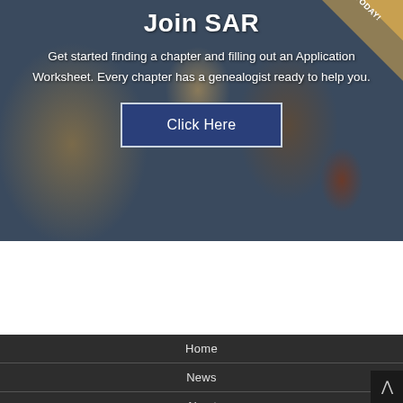[Figure (photo): Blurred background photo of historical Revolutionary War soldiers/reenactors with a dark overlay. Features a gold/tan diagonal ribbon in the top-right corner with 'TODAY!' text.]
Join SAR
Get started finding a chapter and filling out an Application Worksheet. Every chapter has a genealogist ready to help you.
Click Here
Home
News
About